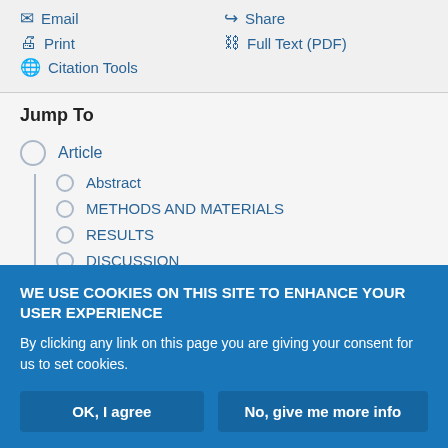Email
Share
Print
Full Text (PDF)
Citation Tools
Jump To
Article
Abstract
METHODS AND MATERIALS
RESULTS
DISCUSSION
Statement of interest
WE USE COOKIES ON THIS SITE TO ENHANCE YOUR USER EXPERIENCE
By clicking any link on this page you are giving your consent for us to set cookies.